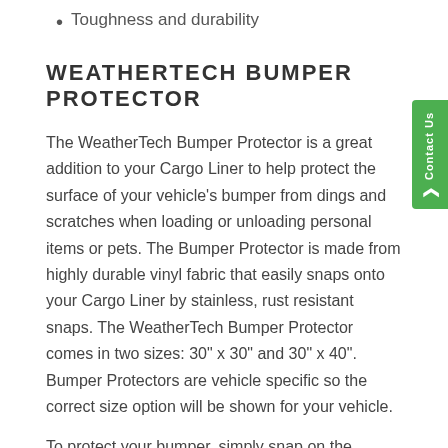Toughness and durability
WEATHERTECH BUMPER PROTECTOR
The WeatherTech Bumper Protector is a great addition to your Cargo Liner to help protect the surface of your vehicle's bumper from dings and scratches when loading or unloading personal items or pets. The Bumper Protector is made from highly durable vinyl fabric that easily snaps onto your Cargo Liner by stainless, rust resistant snaps. The WeatherTech Bumper Protector comes in two sizes: 30" x 30" and 30" x 40". Bumper Protectors are vehicle specific so the correct size option will be shown for your vehicle.
To protect your bumper, simply snap on the Bumper Protector to your Cargo Liner, unravel the Bumper Protector so that it covers your vehicle's bumper, and when not in use, easily roll up and secure with sewn in Hook and Loop to protect the Bumper Protector is also rolling in